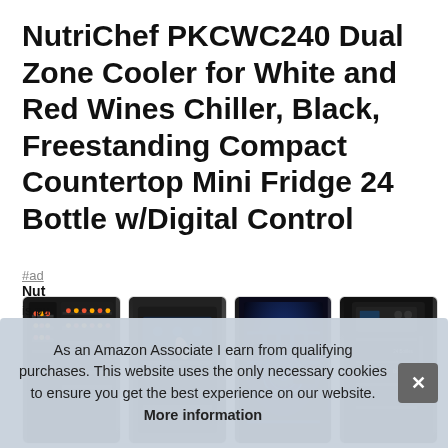NutriChef PKCWC240 Dual Zone Cooler for White and Red Wines Chiller, Black, Freestanding Compact Countertop Mini Fridge 24 Bottle w/Digital Control
#ad
[Figure (photo): Four product thumbnail images of the NutriChef PKCWC240 wine cooler showing different angles including open door with wine bottles, touchscreen control panel, interior with blue LED lighting, and exterior view with display panel.]
Nut
is pu
As an Amazon Associate I earn from qualifying purchases. This website uses the only necessary cookies to ensure you get the best experience on our website. More information